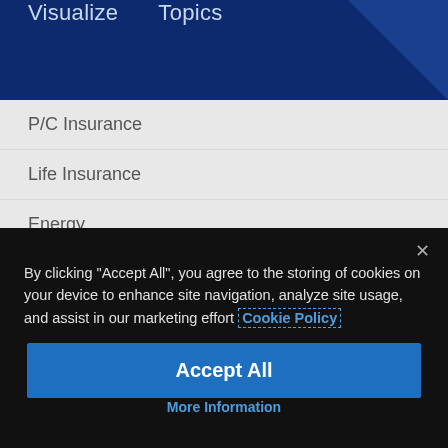Visualize   Topics
P/C Insurance
Life Insurance
Energy
Supply Chain
Community Hazard Mitigation
Real Estate
By clicking "Accept All", you agree to the storing of cookies on your device to enhance site navigation, analyze site usage, and assist in our marketing effort Cookie Policy
Accept All
More Information